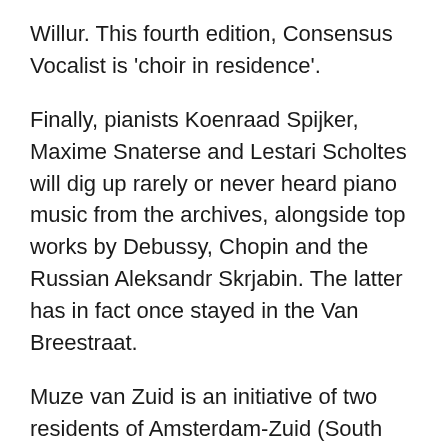Willur. This fourth edition, Consensus Vocalist is 'choir in residence'.
Finally, pianists Koenraad Spijker, Maxime Snaterse and Lestari Scholtes will dig up rarely or never heard piano music from the archives, alongside top works by Debussy, Chopin and the Russian Aleksandr Skrjabin. The latter has in fact once stayed in the Van Breestraat.
Muze van Zuid is an initiative of two residents of Amsterdam-Zuid (South Amsterdam), who thought it would be great to play music by composers who have been immortalised on the street signs, such as Schuyt, Diepenbrock or